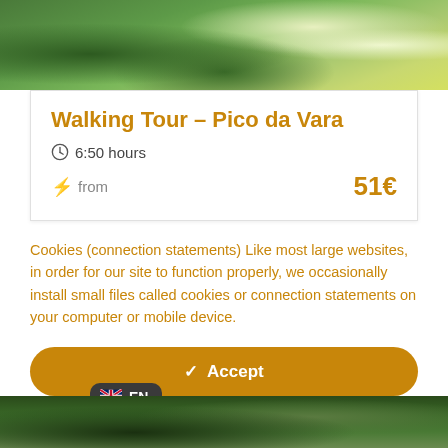[Figure (photo): Aerial or close-up photo of lush green tropical vegetation with white flowers, coastal scenery in background]
Walking Tour - Pico da Vara
6:50 hours
from  51€
Cookies (connection statements) Like most large websites, in order for our site to function properly, we occasionally install small files called cookies or connection statements on your computer or mobile device.
✓ Accept
Read more →
Definitions ⚙
🇬🇧 EN
[Figure (photo): Bottom strip showing green tropical forest/waterfall scene]